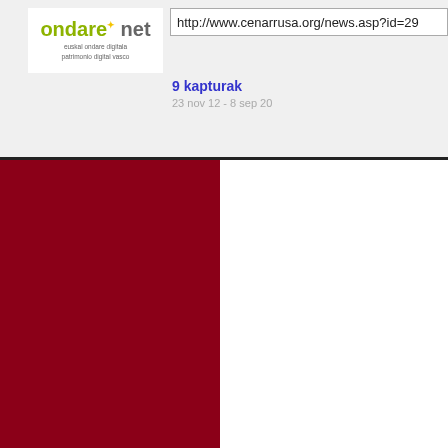[Figure (screenshot): Browser address bar showing URL: http://www.cenarrusa.org/news.asp?id=29]
[Figure (logo): Ondare.net logo — euskal ondare digitala / patrimonio digital vasco]
9 kapturak
23 nov 12 - 8 sep 20
[Figure (illustration): Dark red/maroon rectangle occupying the left side panel below the browser chrome]